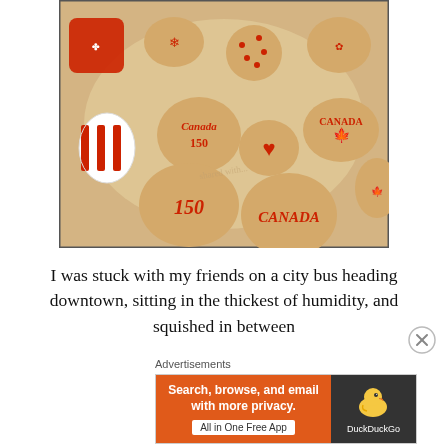[Figure (photo): Photo of maple leaf shaped sugar cookies on parchment paper, decorated with red icing. Some cookies read 'Canada 150', 'CANADA', '150'. A red cookie cutter is visible on the left. One cookie has a striped red and white pattern.]
I was stuck with my friends on a city bus heading downtown, sitting in the thickest of humidity, and squished in between
Advertisements
[Figure (screenshot): DuckDuckGo advertisement banner. Orange left side reads 'Search, browse, and email with more privacy. All in One Free App'. Dark right side shows DuckDuckGo duck logo and brand name.]